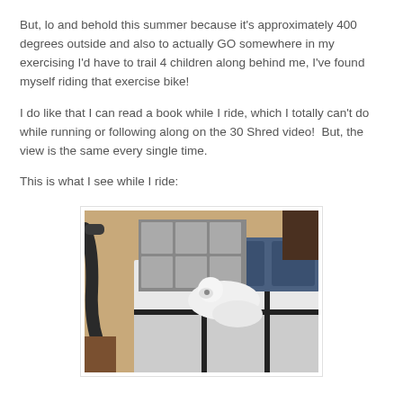But, lo and behold this summer because it's approximately 400 degrees outside and also to actually GO somewhere in my exercising I'd have to trail 4 children along behind me, I've found myself riding that exercise bike!
I do like that I can read a book while I ride, which I totally can't do while running or following along on the 30 Shred video!  But, the view is the same every single time.
This is what I see while I ride:
[Figure (photo): A white fluffy dog lying on a bed with white bedding. A black exercise bike handlebar is visible on the left side of the image. Storage cubes and pillows are visible in the background.]